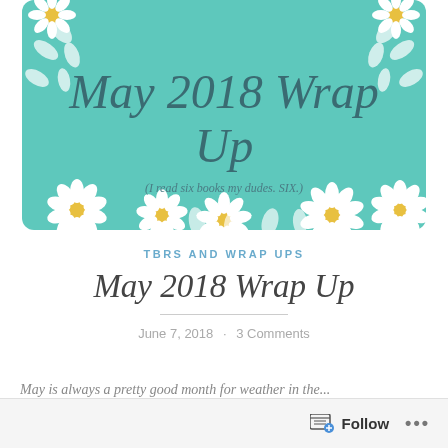[Figure (illustration): Decorative header image with teal/mint background, large italic text 'May 2018 Wrap Up' with subtitle '(I read six books my dudes. SIX.)' and white daisy flower decorations around the border.]
TBRS AND WRAP UPS
May 2018 Wrap Up
June 7, 2018 · 3 Comments
May is always a pretty good month for weather in the...